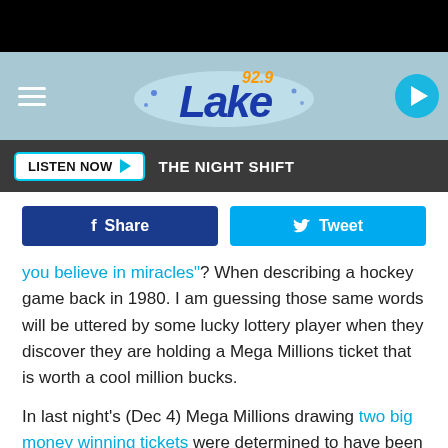[Figure (screenshot): Top black navigation bar at the top of a mobile webpage]
[Figure (logo): 92.9 Lake radio station logo on a light blue header bar with hamburger menu and play button]
LISTEN NOW ▶   THE NIGHT SHIFT
f Share   Tweet
you believe in miracles"? When describing a hockey game back in 1980. I am guessing those same words will be uttered by some lucky lottery player when they discover they are holding a Mega Millions ticket that is worth a cool million bucks.
In last night's (Dec 4) Mega Millions drawing two big money winning tickets were determined to have been purchased in Louisiana. One ticket valued at $10,000 was sold at the